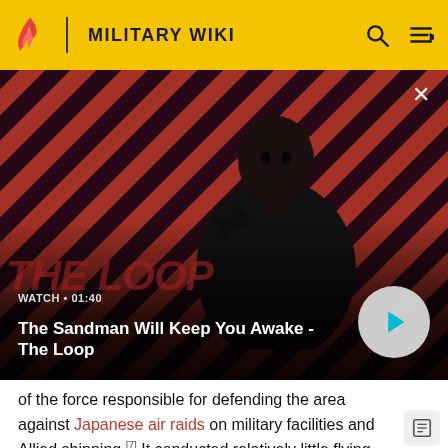MILITARY WIKI
[Figure (screenshot): Video thumbnail showing a person in dark clothes with a raven on shoulder against diagonal red and dark stripe background. Overlay text reads: WATCH · 01:40 / The Sandman Will Keep You Awake - The Loop. A play button is visible on the right.]
of the force responsible for defending the area against Japanese air raids on military facilities and Allied shipping.[7] It conducted relatively little flying during October due to shortages of equipment and a high sickness rate from malaria, however.[5] The squadron's flying effort increased in November and December and in